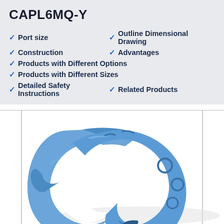CAPL6MQ-Y
Port size
Outline Dimensional Drawing
Construction
Advantages
Products with Different Options
Products with Different Sizes
Detailed Safety Instructions
Related Products
[Figure (photo): Close-up photograph of a blue plastic push-in fitting clip (CAPL6MQ-Y), horseshoe-shaped with ridges and circular embossed markings, viewed at an angle on a white background.]